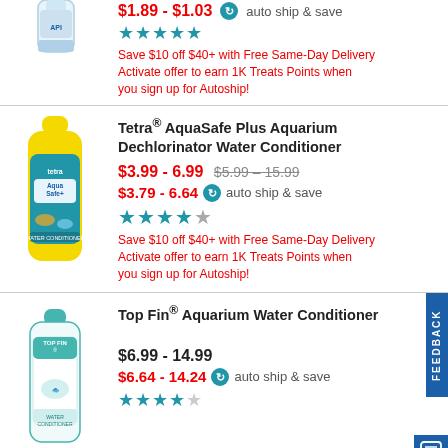[Figure (photo): Partial product image at top - aquarium water conditioner bottle cropped]
$1.89 - $1.03 auto ship & save
★★★★★
Save $10 off $40+ with Free Same-Day Delivery Activate offer to earn 1K Treats Points when you sign up for Autoship!
[Figure (photo): Tetra AquaSafe Plus Aquarium Dechlorinator Water Conditioner yellow bottle]
Tetra® AquaSafe Plus Aquarium Dechlorinator Water Conditioner
$3.99 - 6.99 $5.99 - 15.99
$3.79 - 6.64 auto ship & save
★★★★★
Save $10 off $40+ with Free Same-Day Delivery Activate offer to earn 1K Treats Points when you sign up for Autoship!
[Figure (photo): Top Fin Aquarium Water Conditioner white teal bottle]
Top Fin® Aquarium Water Conditioner
$6.99 - 14.99
$6.64 - 14.24 auto ship & save
★★★★